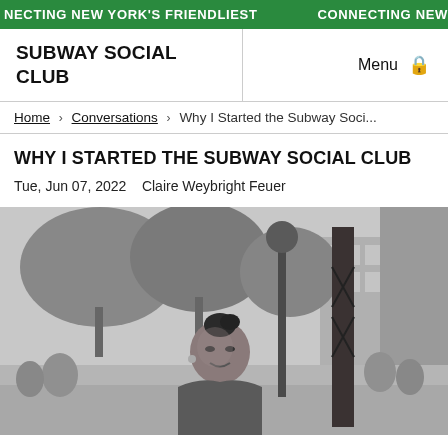CONNECTING NEW YORK'S FRIENDLIEST   CONNECTING NEW YORK'S
SUBWAY SOCIAL CLUB
Menu 🔒
Home › Conversations › Why I Started the Subway Soci...
WHY I STARTED THE SUBWAY SOCIAL CLUB
Tue, Jun 07, 2022    Claire Weybright Feuer
[Figure (photo): Black and white photograph of a woman smiling on a New York City street near a subway entrance pole, with trees, buildings, and street scene in the background.]